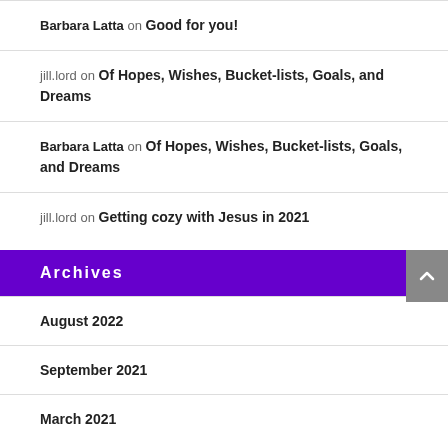Barbara Latta on Good for you!
jill.lord on Of Hopes, Wishes, Bucket-lists, Goals, and Dreams
Barbara Latta on Of Hopes, Wishes, Bucket-lists, Goals, and Dreams
jill.lord on Getting cozy with Jesus in 2021
Archives
August 2022
September 2021
March 2021